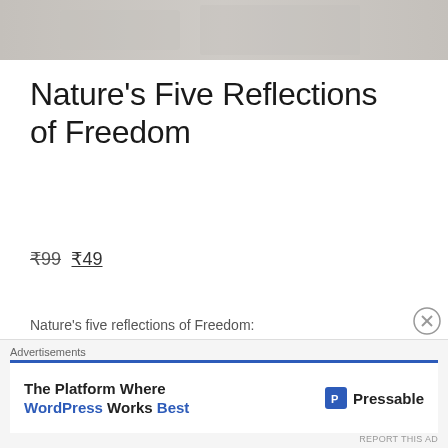[Figure (photo): Hero image at top of page, light grey/beige textured background]
Nature’s Five Reflections of Freedom
₹99 ₹49
Nature’s five reflections of Freedom:
The price of liberty is freedom.
Advertisements
[Figure (screenshot): Pressable advertisement banner: 'The Platform Where WordPress Works Best' with Pressable logo]